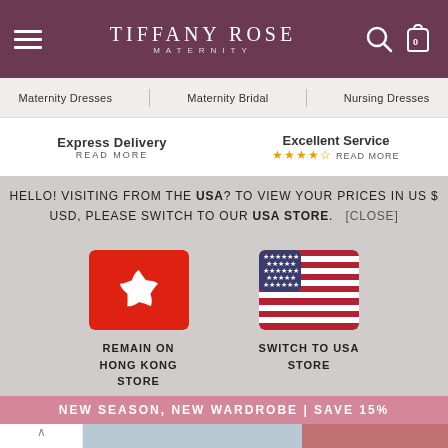TIFFANY ROSE MATERNITY
Maternity Dresses | Maternity Bridal | Nursing Dresses
Express Delivery READ MORE | Excellent Service ★★★★☆ READ MORE
HELLO! VISITING FROM THE USA? TO VIEW YOUR PRICES IN US $ USD, PLEASE SWITCH TO OUR USA STORE. [CLOSE]
[Figure (illustration): Hong Kong flag and USA flag options with labels REMAIN ON HONG KONG STORE and SWITCH TO USA STORE]
NEW SEASON, NEW WARDROBE | SAVE 15%
[Figure (photo): Woman in pink/coral maternity dress smiling, with thumbnail images on the left side]